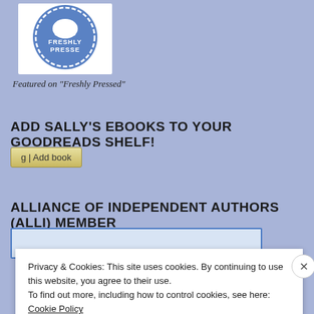[Figure (logo): Freshly Pressed circular badge/logo with blue and white design showing a hand and text 'FRESHLY PRESSED']
Featured on "Freshly Pressed"
ADD SALLY'S EBOOKS TO YOUR GOODREADS SHELF!
[Figure (other): Goodreads 'Add book' button widget with 'g | Add book' text]
ALLIANCE OF INDEPENDENT AUTHORS (ALLI) MEMBER
[Figure (other): Alliance of Independent Authors member badge/widget with blue border]
Privacy & Cookies: This site uses cookies. By continuing to use this website, you agree to their use.
To find out more, including how to control cookies, see here: Cookie Policy
Close and accept